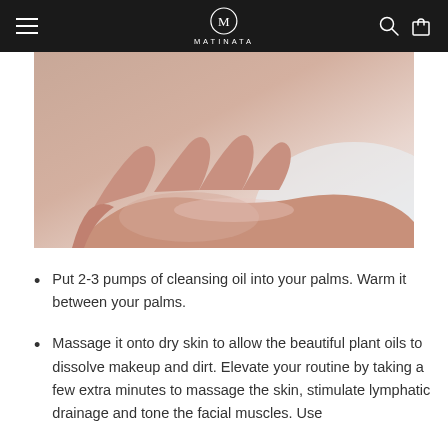MatiNata
[Figure (photo): Close-up photo of a person's open palm and hand, skin toned, held out as if cupping something, light background]
Put 2-3 pumps of cleansing oil into your palms. Warm it between your palms.
Massage it onto dry skin to allow the beautiful plant oils to dissolve makeup and dirt. Elevate your routine by taking a few extra minutes to massage the skin, stimulate lymphatic drainage and tone the facial muscles. Use